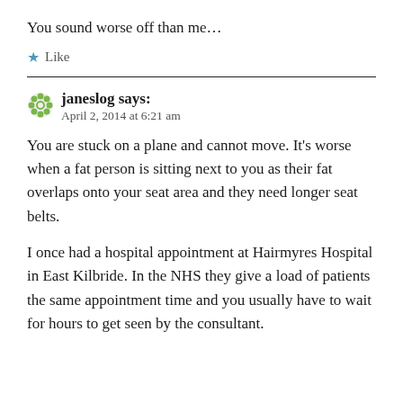You sound worse off than me…
★ Like
janeslog says:
April 2, 2014 at 6:21 am
You are stuck on a plane and cannot move. It's worse when a fat person is sitting next to you as their fat overlaps onto your seat area and they need longer seat belts.
I once had a hospital appointment at Hairmyres Hospital in East Kilbride. In the NHS they give a load of patients the same appointment time and you usually have to wait for hours to get seen by the consultant.